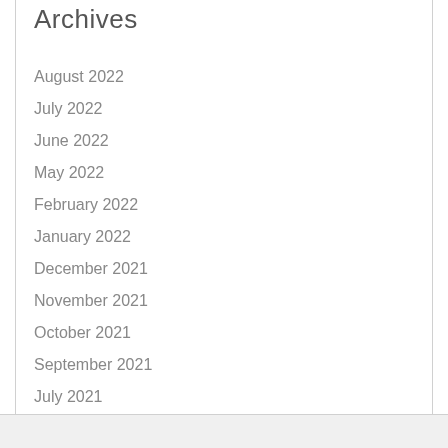Archives
August 2022
July 2022
June 2022
May 2022
February 2022
January 2022
December 2021
November 2021
October 2021
September 2021
July 2021
June 2021